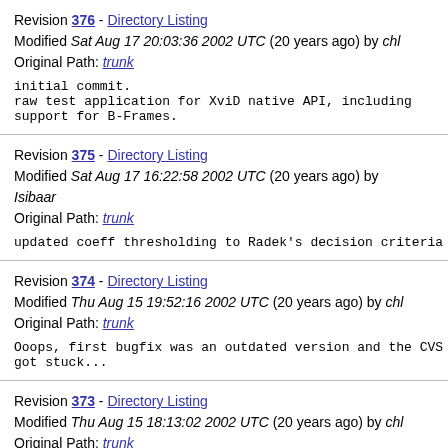Revision 376 - Directory Listing
Modified Sat Aug 17 20:03:36 2002 UTC (20 years ago) by chl
Original Path: trunk

initial commit.
raw test application for XviD native API, including
support for B-Frames.
Revision 375 - Directory Listing
Modified Sat Aug 17 16:22:58 2002 UTC (20 years ago) by Isibaar
Original Path: trunk

updated coeff thresholding to Radek's decision criteria
Revision 374 - Directory Listing
Modified Thu Aug 15 19:52:16 2002 UTC (20 years ago) by chl
Original Path: trunk

Ooops, first bugfix was an outdated version and the CVS
got stuck...
Revision 373 - Directory Listing
Modified Thu Aug 15 18:13:02 2002 UTC (20 years ago) by chl
Original Path: trunk